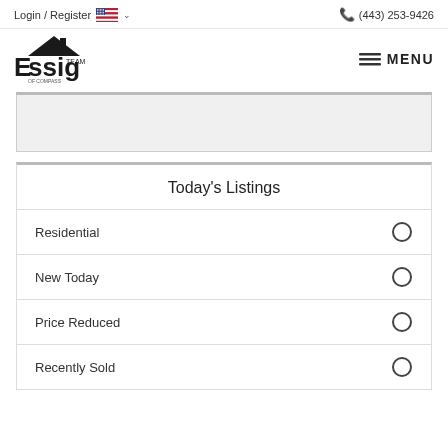Login / Register   (443) 253-9426
[Figure (logo): Essig Team of Compass real estate logo with house/roof icon]
Today's Listings
Residential
New Today
Price Reduced
Recently Sold